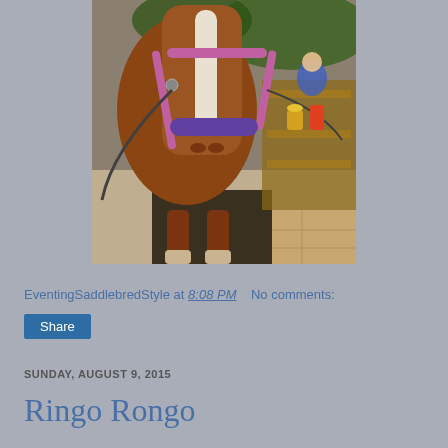[Figure (photo): Close-up photo of a chestnut horse with a white blaze on its face, wearing a pink halter and purple noseband, standing in a yard with grooming equipment on a wooden shelf in the background]
EventingSaddlebredStyle at 8:08 PM    No comments:
Share
SUNDAY, AUGUST 9, 2015
Ringo Rongo